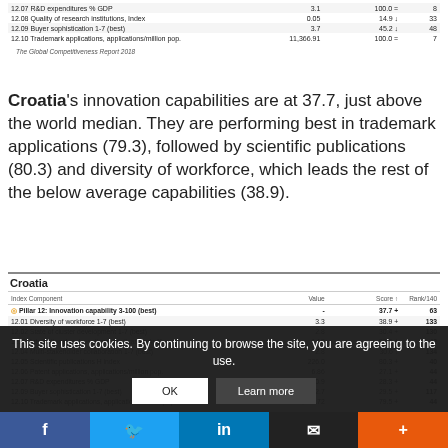| Index Component | Value | Score ↑ | Rank/140 |
| --- | --- | --- | --- |
| 12.07 R&D expenditures % GDP | 3.1 | 100.0 = | 8 |
| 12.08 Quality of research institutions, Index | 0.05 | 14.9 ↓ | 33 |
| 12.09 Buyer sophistication 1-7 (best) | 3.7 | 45.2 ↓ | 48 |
| 12.10 Trademark applications, applications/million pop. | 11,366.91 | 100.0 = | 7 |
The Global Competitiveness Report 2018
Croatia's innovation capabilities are at 37.7, just above the world median. They are performing best in trademark applications (79.3), followed by scientific publications (80.3) and diversity of workforce, which leads the rest of the below average capabilities (38.9).
| Index Component | Value | Score ↑ | Rank/140 |
| --- | --- | --- | --- |
| Pillar 12: Innovation capability 3-100 (best) | - | 37.7 + | 63 |
| 12.01 Diversity of workforce 1-7 (best) | 3.3 | 38.9 + | 133 |
| 12.02 State of cluster development 1-7 (best) | 2.8 | 30.4 + | 130 |
| 12.03 International co-inventions, applications/million pop. | 1.15 | 23.5 + | 42 |
| 12.04 Multi-stakeholder collaboration 1-7 (best) | 2.8 | 30.6 ↓ | 134 |
| 12.05 Scientific publications H index | 226.0 | 80.3 + | 40 |
| 12.06 Patent applications, applications/million pop. | 6.86 | 27.1 + | 44 |
| 12.07 R&D expenditures % GDP | 0.9 | 28.3 + | 44 |
| 12.09 Buyer sophistication 1-7 (best) | 2.7 | 29.5 + | 117 |
| 12.10 Trademark applications, applications/million pop. | 1,305.72 | 79.5 + | 44 |
This site uses cookies. By continuing to browse the site, you are agreeing to the use.